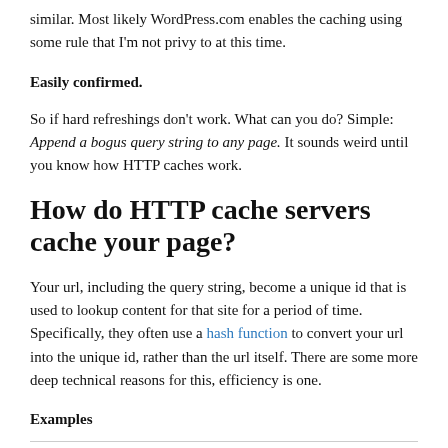similar. Most likely WordPress.com enables the caching using some rule that I'm not privy to at this time.
Easily confirmed.
So if hard refreshings don't work. What can you do? Simple: Append a bogus query string to any page. It sounds weird until you know how HTTP caches work.
How do HTTP cache servers cache your page?
Your url, including the query string, become a unique id that is used to lookup content for that site for a period of time. Specifically, they often use a hash function to convert your url into the unique id, rather than the url itself. There are some more deep technical reasons for this, efficiency is one.
Examples